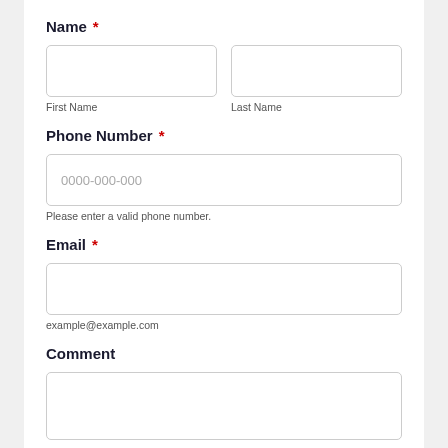Name *
First Name
Last Name
Phone Number *
0000-000-000
Please enter a valid phone number.
Email *
example@example.com
Comment